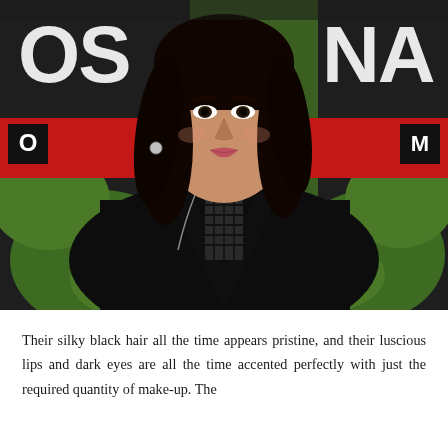[Figure (photo): A woman with dark shoulder-length hair wearing a black blazer over a strappy black top, standing in front of dark banner displays with letters 'OS' and 'NA' and red ribbons, with green foliage background.]
Their silky black hair all the time appears pristine, and their luscious lips and dark eyes are all the time accented perfectly with just the required quantity of make-up. The